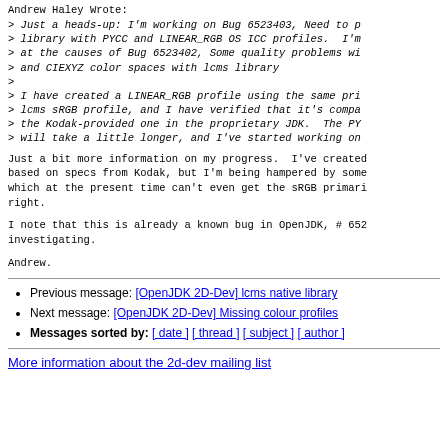Andrew Haley Wrote:
> Just a heads-up: I'm working on Bug 6523403, Need to p
> library with PYCC and LINEAR_RGB OS ICC profiles.  I'm
> at the causes of Bug 6523402, Some quality problems wi
> and CIEXYZ color spaces with lcms library
>
> I have created a LINEAR_RGB profile using the same pri
> lcms sRGB profile, and I have verified that it's compa
> the Kodak-provided one in the proprietary JDK.  The PY
> will take a little longer, and I've started working on
Just a bit more information on my progress.  I've created
based on specs from Kodak, but I'm being hampered by some
which at the present time can't even get the sRGB primari
right.
I note that this is already a known bug in OpenJDK, # 652
investigating.
Andrew.
Previous message: [OpenJDK 2D-Dev] lcms native library
Next message: [OpenJDK 2D-Dev] Missing colour profiles
Messages sorted by: [ date ] [ thread ] [ subject ] [ author ]
More information about the 2d-dev mailing list